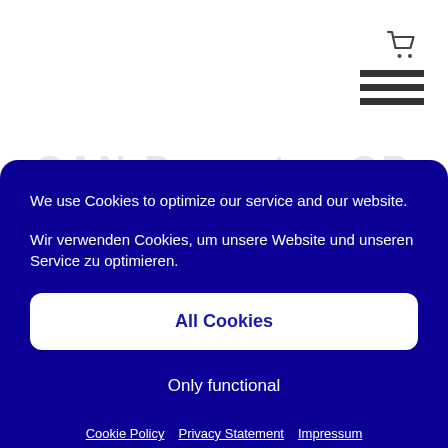[Figure (other): Shopping cart icon in dark gray]
[Figure (other): Hamburger menu icon with three horizontal bars]
CAN Derector CR
We use Cookies to optimize our service and our website.
Wir verwenden Cookies, um unsere Website und unseren Service zu optimieren.
All Cookies
Only functional
Cookie Policy · Privacy Statement · Impressum